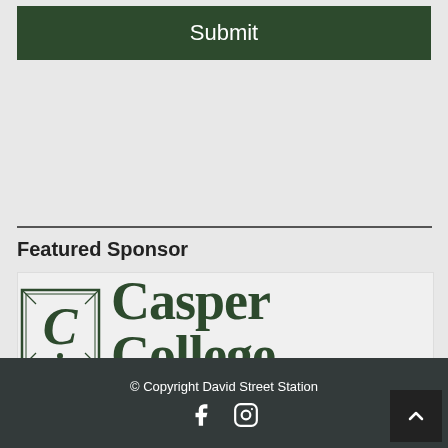Submit
Featured Sponsor
[Figure (logo): Casper College logo with ornate letter C icon and serif text reading 'Casper College' in dark green]
© Copyright David Street Station